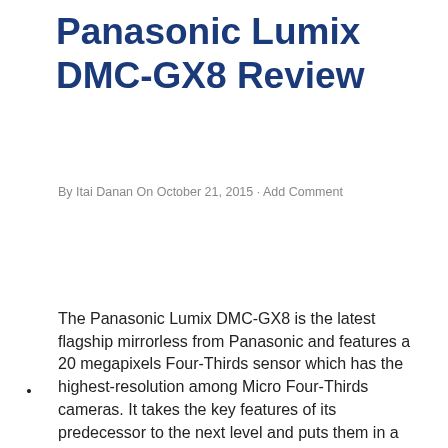Panasonic Lumix DMC-GX8 Review
By Itai Danan On October 21, 2015 · Add Comment
The Panasonic Lumix DMC-GX8 is the latest flagship mirrorless from Panasonic and features a 20 megapixels Four-Thirds sensor which has the highest-resolution among Micro Four-Thirds cameras. It takes the key features of its predecessor to the next level and puts them in a new weather-sealed body with tilting 2.4 MP 0.44″ OLED EVF and a 3″ rotating touchscreen LCD. Like the camera it
Privacy & Cookies: This site uses cookies.
To find out more, as well as how to remove or block these, see here:
Our Cookie Policy
Close and accept
Review